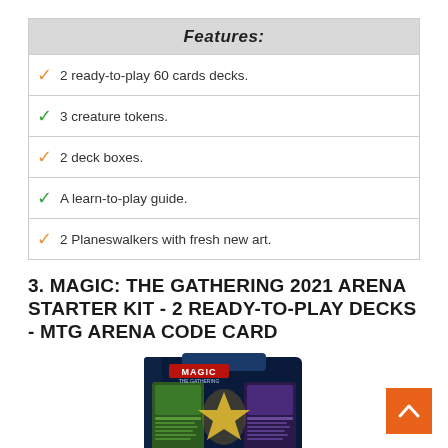Features:
2 ready-to-play 60 cards decks.
3 creature tokens.
2 deck boxes.
A learn-to-play guide.
2 Planeswalkers with fresh new art.
3. MAGIC: THE GATHERING 2021 ARENA STARTER KIT - 2 READY-TO-PLAY DECKS - MTG ARENA CODE CARD
[Figure (photo): Magic: The Gathering 2021 Arena Starter Kit box product photo showing two card decks and the Arena Starter Kit branding]